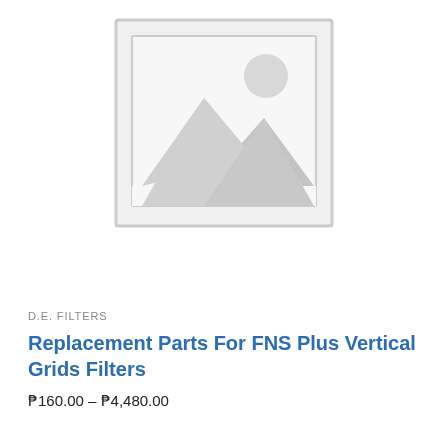[Figure (illustration): Placeholder image with mountain landscape and sun icon inside a square frame with light gray border]
D.E. FILTERS
Replacement Parts For FNS Plus Vertical Grids Filters
₱160.00 – ₱4,480.00